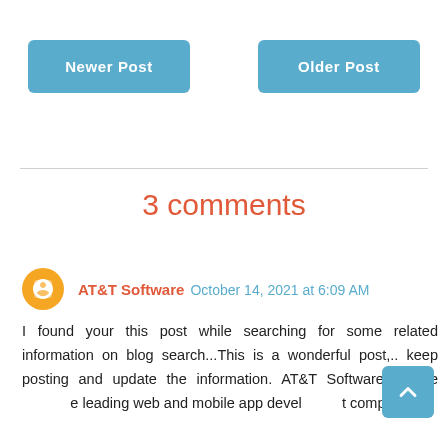Newer Post
Older Post
3 comments
AT&T Software  October 14, 2021 at 6:09 AM
I found your this post while searching for some related information on blog search...This is a wonderful post,.. keep posting and update the information. AT&T Software is one of the leading web and mobile app development company...